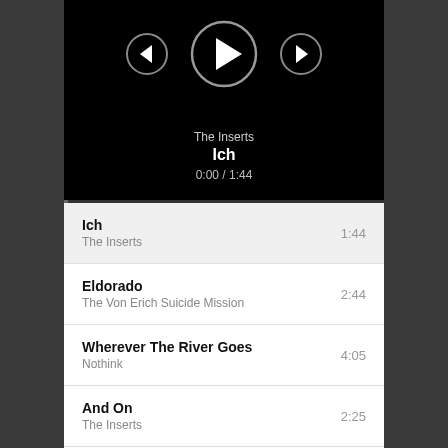[Figure (screenshot): Music player controls: previous button (small circle with left arrow), play button (large circle with right triangle), next button (small circle with right arrow), on black background]
The Inserts
Ich
0:00 / 1:44
Ich — The Inserts — 1:44
Eldorado — The Von Erich Suicide Mission — 2:44
Wherever The River Goes — Nothink — 4:05
And On — The Inserts — 2:25